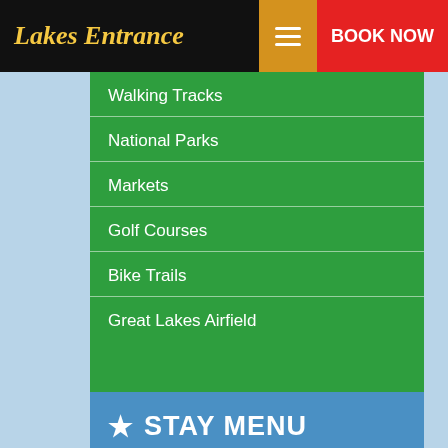Lakes Entrance | BOOK NOW
Walking Tracks
National Parks
Markets
Golf Courses
Bike Trails
Great Lakes Airfield
★  STAY MENU
Apartments & Units
Hotels & Motels
Cabins & Cottages